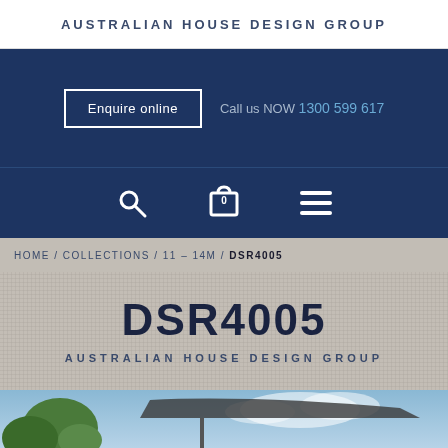AUSTRALIAN HOUSE DESIGN GROUP
Enquire online  Call us NOW 1300 599 617
[Figure (screenshot): Navigation icon bar with search, shopping bag (0), and hamburger menu icons on dark blue background]
HOME / COLLECTIONS / 11 - 14M / DSR4005
DSR4005
AUSTRALIAN HOUSE DESIGN GROUP
[Figure (photo): Exterior photo of a modern house with large trees and overhanging roof structure against a blue sky]